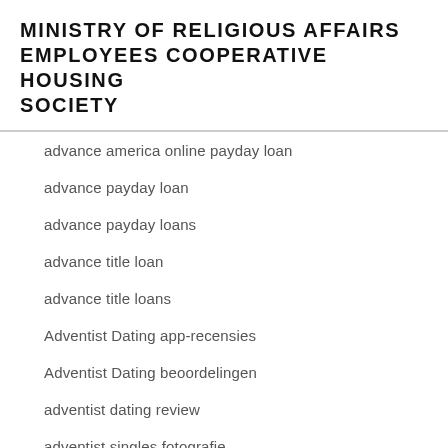MINISTRY OF RELIGIOUS AFFAIRS EMPLOYEES COOPERATIVE HOUSING SOCIETY
advance america online payday loan
advance payday loan
advance payday loans
advance title loan
advance title loans
Adventist Dating app-recensies
Adventist Dating beoordelingen
adventist dating review
adventist singles fotografie
adventist singles Gutscheincode